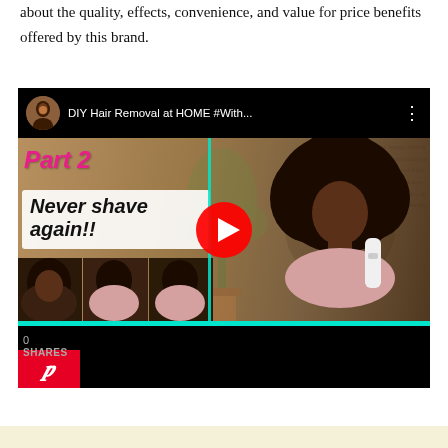about the quality, effects, convenience, and value for price benefits offered by this brand.
[Figure (screenshot): Embedded YouTube video thumbnail showing a DIY Hair Removal at HOME video. The thumbnail features a young Black woman with large natural hair holding a hair removal device, with overlay text 'Part 2' in pink italic and 'Never shave again!!' in bold italic black on white background. Bottom left shows smaller photo collage thumbnails. A red YouTube play button is centered. Left side shows share count of 0 and SHARES label, with a Pinterest button below. A teal bar runs along the bottom of the video area above a black progress bar region.]